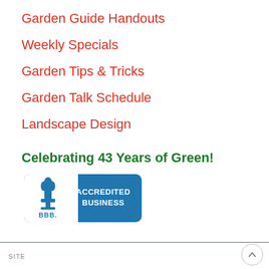Garden Guide Handouts
Weekly Specials
Garden Tips & Tricks
Garden Talk Schedule
Landscape Design
Celebrating 43 Years of Green!
[Figure (logo): BBB Accredited Business badge — blue and white logo with BBB torch flame icon on left and 'ACCREDITED BUSINESS / BBB.' text on right]
SITE